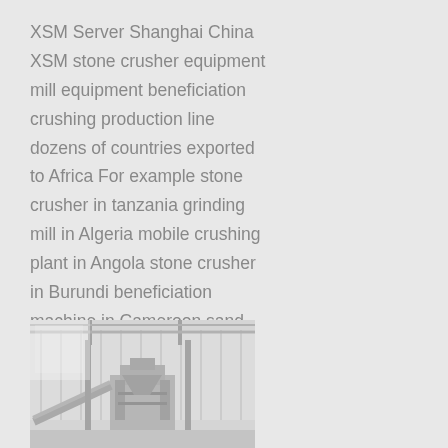XSM Server Shanghai China XSM stone crusher equipment mill equipment beneficiation crushing production line dozens of countries exported to Africa For example stone crusher in tanzania grinding mill in Algeria mobile crushing plant in Angola stone crusher in Burundi beneficiation machine in Cameroon sand making in
[Figure (photo): Industrial stone crushing / milling equipment inside a factory building with metal roof trusses and structural columns visible]